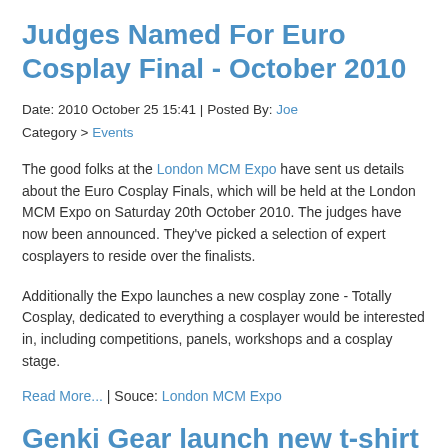Judges Named For Euro Cosplay Final - October 2010
Date: 2010 October 25 15:41 | Posted By: Joe
Category > Events
The good folks at the London MCM Expo have sent us details about the Euro Cosplay Finals, which will be held at the London MCM Expo on Saturday 20th October 2010. The judges have now been announced. They've picked a selection of expert cosplayers to reside over the finalists.
Additionally the Expo launches a new cosplay zone - Totally Cosplay, dedicated to everything a cosplayer would be interested in, including competitions, panels, workshops and a cosplay stage.
Read More... | Souce: London MCM Expo
Genki Gear launch new t-shirt designs at London MCM Expo